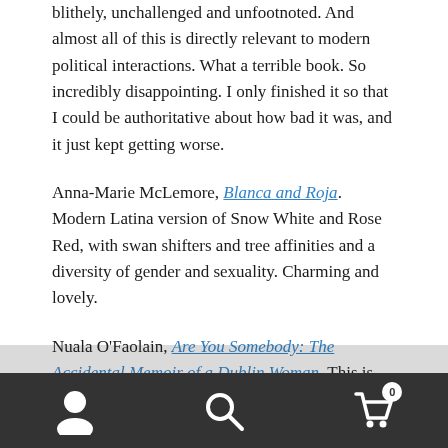blithely, unchallenged and unfootnoted. And almost all of this is directly relevant to modern political interactions. What a terrible book. So incredibly disappointing. I only finished it so that I could be authoritative about how bad it was, and it just kept getting worse.
Anna-Marie McLemore, Blanca and Roja. Modern Latina version of Snow White and Rose Red, with swan shifters and tree affinities and a diversity of gender and sexuality. Charming and lovely.
Nuala O'Faolain, Are You Somebody: The Accidental Memoir of a Dublin Woman. This is substantially about digging herself out of the hole that the mid-twentieth century left Irish women in, and surveying the wreckage upon her family. The...
[Figure (other): Mobile navigation bar with user icon, search icon, and shopping cart icon with badge showing 0]